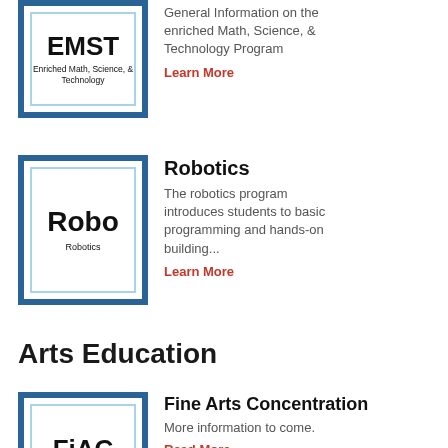[Figure (logo): EMST logo - Enriched Math, Science, & Technology, dark border box]
General Information on the enriched Math, Science, & Technology Program
Learn More
[Figure (logo): Robo / Robotics logo, dark border box]
Robotics
The robotics program introduces students to basic programming and hands-on building...
Learn More
Arts Education
[Figure (logo): FiAC - Fine Arts Concentration logo, dark border box]
Fine Arts Concentration
More information to come.
Read More